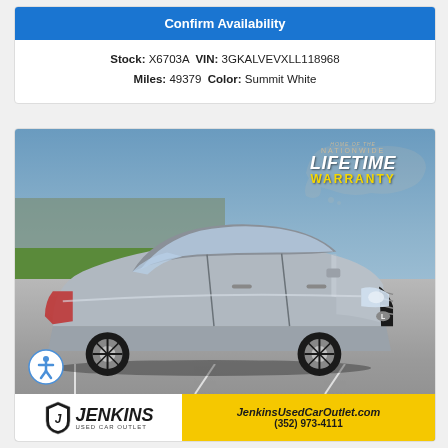Confirm Availability
Stock: X6703A VIN: 3GKALVEVXLL118968 Miles: 49379 Color: Summit White
[Figure (photo): Silver Lexus sedan parked in a lot, with a 'Nationwide Lifetime Warranty' badge overlay in the top right corner, accessibility icon in bottom left, and Jenkins Used Car Outlet banner at bottom.]